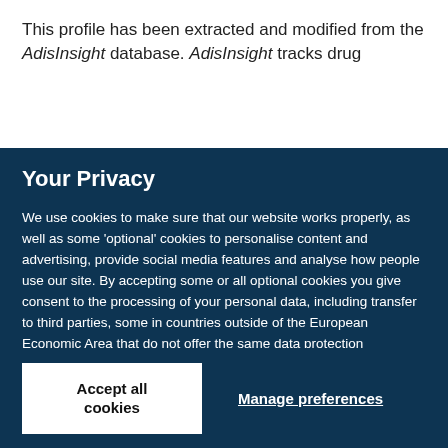This profile has been extracted and modified from the AdisInsight database. AdisInsight tracks drug
Your Privacy
We use cookies to make sure that our website works properly, as well as some 'optional' cookies to personalise content and advertising, provide social media features and analyse how people use our site. By accepting some or all optional cookies you give consent to the processing of your personal data, including transfer to third parties, some in countries outside of the European Economic Area that do not offer the same data protection standards as the country where you live. You can decide which optional cookies to accept by clicking on 'Manage Settings', where you can also find more information about how your personal data is processed. Further information can be found in our privacy policy.
Accept all cookies
Manage preferences